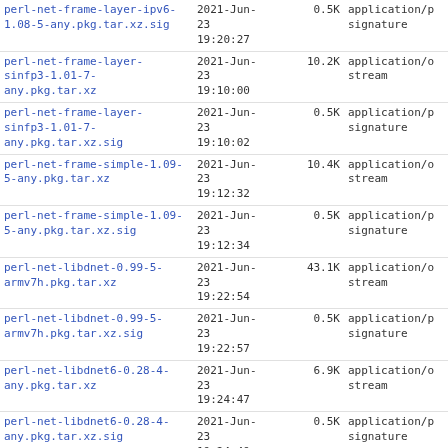| Name | Date | Size | Type |
| --- | --- | --- | --- |
| perl-net-frame-layer-ipv6-1.08-5-any.pkg.tar.xz.sig | 2021-Jun-23 19:20:27 | 0.5K | application/p signature |
| perl-net-frame-layer-sinfp3-1.01-7-any.pkg.tar.xz | 2021-Jun-23 19:10:00 | 10.2K | application/o stream |
| perl-net-frame-layer-sinfp3-1.01-7-any.pkg.tar.xz.sig | 2021-Jun-23 19:10:02 | 0.5K | application/p signature |
| perl-net-frame-simple-1.09-5-any.pkg.tar.xz | 2021-Jun-23 19:12:32 | 10.4K | application/o stream |
| perl-net-frame-simple-1.09-5-any.pkg.tar.xz.sig | 2021-Jun-23 19:12:34 | 0.5K | application/p signature |
| perl-net-libdnet-0.99-5-armv7h.pkg.tar.xz | 2021-Jun-23 19:22:54 | 43.1K | application/o stream |
| perl-net-libdnet-0.99-5-armv7h.pkg.tar.xz.sig | 2021-Jun-23 19:22:57 | 0.5K | application/p signature |
| perl-net-libdnet6-0.28-4-any.pkg.tar.xz | 2021-Jun-23 19:24:47 | 6.9K | application/o stream |
| perl-net-libdnet6-0.28-4-any.pkg.tar.xz.sig | 2021-Jun-23 19:24:49 | 0.5K | application/p signature |
| perl-net-netmask-2.0001-2-any.pkg.tar.xz | 2021-Jun-23 19:15:54 | 20.8K | application/o stream |
| perl-net-netmask-2.0001-2-any.pkg.tar.xz.sig | 2021-Jun-23 | 0.5K | application/p |